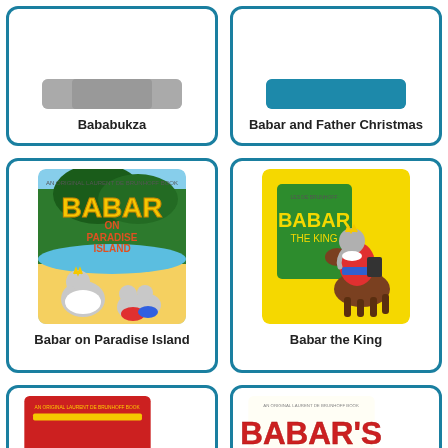[Figure (illustration): Book card for Bababukza, partially cropped at top, showing bottom portion of book cover and title]
Bababukza
[Figure (illustration): Book card for Babar and Father Christmas, partially cropped at top, showing teal/blue book cover bottom and title]
Babar and Father Christmas
[Figure (illustration): Book card for Babar on Paradise Island showing full book cover with elephants on a tropical beach]
Babar on Paradise Island
[Figure (illustration): Book card for Babar the King showing full book cover with Babar on horseback with a green flag on yellow background]
Babar the King
[Figure (illustration): Book card partially cropped at bottom, showing top of a red book cover]
[Figure (illustration): Book card partially cropped at bottom, showing top of Babar's ABC book cover]